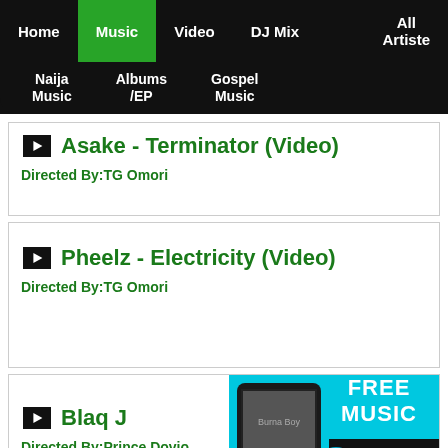Home | Music | Video | DJ Mix | All Artiste | Naija Music | Albums /EP | Gospel Music
Asake - Terminator (Video)
Directed By:TG Omori
Pheelz - Electricity (Video)
Directed By:TG Omori
Blaq J... (Video)
Directed By:Prince Dovio
[Figure (screenshot): Boomplay advertisement banner with FREE MUSIC text and app screenshot showing Burna Boy, with Boomplay logo and Get it on Boomplay button]